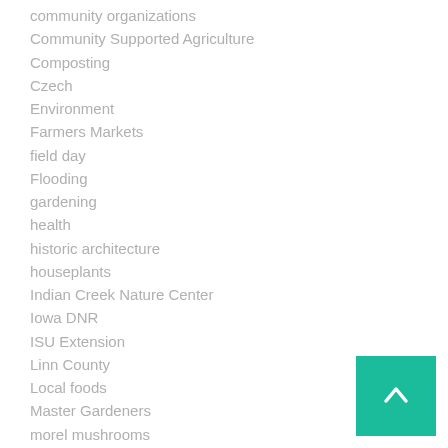community organizations
Community Supported Agriculture
Composting
Czech
Environment
Farmers Markets
field day
Flooding
gardening
health
historic architecture
houseplants
Indian Creek Nature Center
Iowa DNR
ISU Extension
Linn County
Local foods
Master Gardeners
morel mushrooms
politics
Scenic Byways
Seed Savers Exchange
The Great Outdoors
[Figure (other): Back to top button with upward arrow on teal/green background]